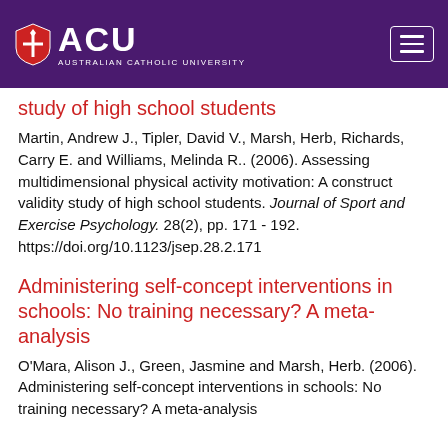[Figure (logo): ACU Australian Catholic University logo with shield icon on purple header background, plus a hamburger menu button on the right]
study of high school students
Martin, Andrew J., Tipler, David V., Marsh, Herb, Richards, Carry E. and Williams, Melinda R.. (2006). Assessing multidimensional physical activity motivation: A construct validity study of high school students. Journal of Sport and Exercise Psychology. 28(2), pp. 171 - 192. https://doi.org/10.1123/jsep.28.2.171
Administering self-concept interventions in schools: No training necessary? A meta-analysis
O'Mara, Alison J., Green, Jasmine and Marsh, Herb. (2006). Administering self-concept interventions in schools: No training necessary? A meta-analysis